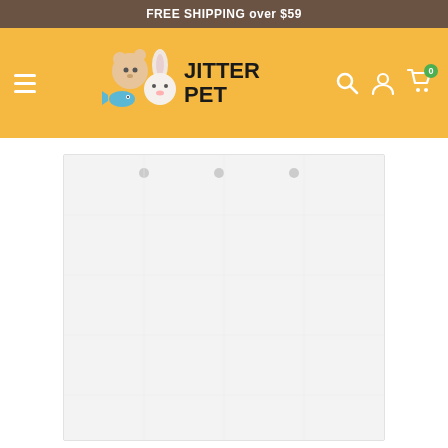FREE SHIPPING over $59
[Figure (logo): Jitter Pet logo with illustrated animals (cat, dog, fish, rabbit) and bold text JITTER PET on an orange/yellow navigation bar with hamburger menu, search, account, and cart (0) icons]
[Figure (photo): Product image placeholder - a light gray/white rectangular product (appears to be a pet mat or pad) with small circular studs visible at top edge, shown against white background]